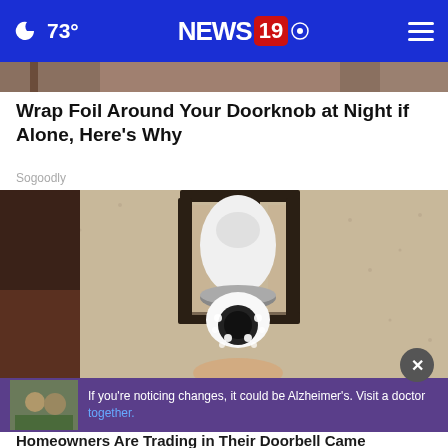🌙 73° NEWS 19
[Figure (photo): Partial view of a doorknob/door area at top]
Wrap Foil Around Your Doorknob at Night if Alone, Here's Why
Sogoodly
[Figure (photo): Security camera shaped like a light bulb mounted in an outdoor wall lantern fixture on a textured stucco wall]
[Figure (photo): Advertisement: two men outdoors, Alzheimer's awareness ad. Text: If you're noticing changes, it could be Alzheimer's. Visit a doctor together.]
Homeowners Are Trading in Their Doorbell Came